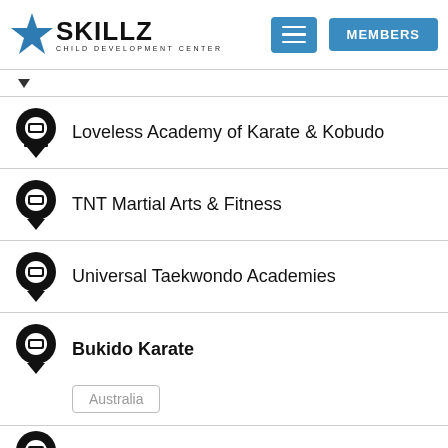SKILLZ CHILD DEVELOPMENT CENTER — navigation header with MEMBERS button
Loveless Academy of Karate & Kobudo
TNT Martial Arts & Fitness
Universal Taekwondo Academies
Bukido Karate — Australia
(partial) — next item cut off at bottom